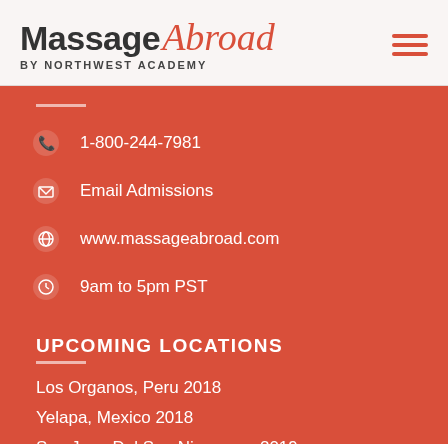[Figure (logo): Massage Abroad by Northwest Academy logo with hamburger menu icon]
1-800-244-7981
Email Admissions
www.massageabroad.com
9am to 5pm PST
UPCOMING LOCATIONS
Los Organos, Peru 2018
Yelapa, Mexico 2018
San Juan Del Sur, Nicaragua 2019
MASSAGE SCHOOL USA
206-932-5950